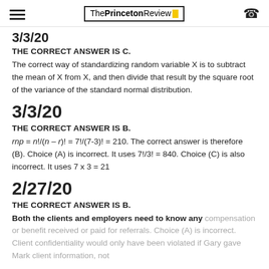The Princeton Review
3/3/20 (partial, top cut off)
THE CORRECT ANSWER IS C.
The correct way of standardizing random variable X is to subtract the mean of X from X, and then divide that result by the square root of the variance of the standard normal distribution.
3/3/20
THE CORRECT ANSWER IS B.
rnp = n!/(n – r)! = 7!/(7-3)! = 210. The correct answer is therefore (B). Choice (A) is incorrect. It uses 7!/3! = 840. Choice (C) is also incorrect. It uses 7 x 3 = 21
2/27/20
THE CORRECT ANSWER IS B.
Both the clients and employers need to know any compensation or benefit received or paid for referrals. Choice (A) is incorrect. Client confidentiality would only have been violated if Gary gave Mark client information, not